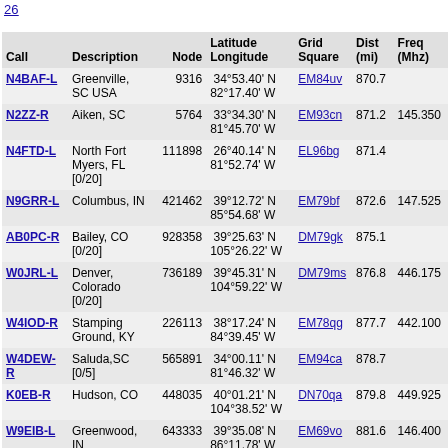26
| Call | Description | Node | Latitude Longitude | Grid Square | Dist (mi) | Freq (Mhz) |
| --- | --- | --- | --- | --- | --- | --- |
| N4BAF-L | Greenville, SC USA | 9316 | 34°53.40' N 82°17.40' W | EM84uv | 870.7 |  |
| N2ZZ-R | Aiken, SC | 5764 | 33°34.30' N 81°45.70' W | EM93cn | 871.2 | 145.350 |
| N4FTD-L | North Fort Myers, FL [0/20] | 111898 | 26°40.14' N 81°52.74' W | EL96bg | 871.4 |  |
| N9GRR-L | Columbus, IN | 421462 | 39°12.72' N 85°54.68' W | EM79bf | 872.6 | 147.525 |
| AB0PC-R | Bailey, CO [0/20] | 928358 | 39°25.63' N 105°26.22' W | DM79gk | 875.1 |  |
| W0JRL-L | Denver, Colorado [0/20] | 736189 | 39°45.31' N 104°59.22' W | DM79ms | 876.8 | 446.175 |
| W4IOD-R | Stamping Ground, KY | 226113 | 38°17.24' N 84°39.45' W | EM78qg | 877.7 | 442.100 |
| W4DEW-R | Saluda,SC [0/5] | 565891 | 34°00.11' N 81°46.32' W | EM94ca | 878.7 |  |
| K0EB-R | Hudson, CO | 448035 | 40°01.21' N 104°38.52' W | DN70qa | 879.8 | 449.925 |
| W9EIB-L | Greenwood, IN | 643333 | 39°35.08' N 86°11.78' W | EM69vo | 881.6 | 146.400 |